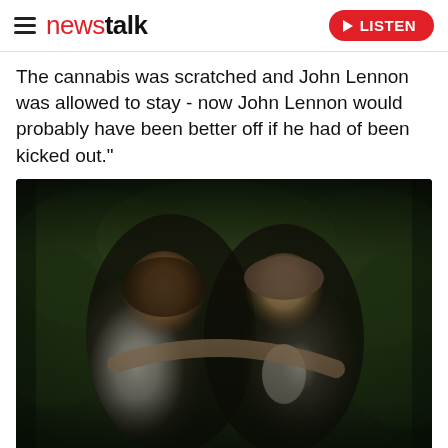newstalk — LISTEN
The cannabis was scratched and John Lennon was allowed to stay - now John Lennon would probably have been better off if he had of been kicked out."
[Figure (photo): A smiling couple at what appears to be a wedding or formal event. A dark-haired woman in a white dress embraces a short-haired man in a dark suit from behind. Both are smiling broadly. Green foliage in the background.]